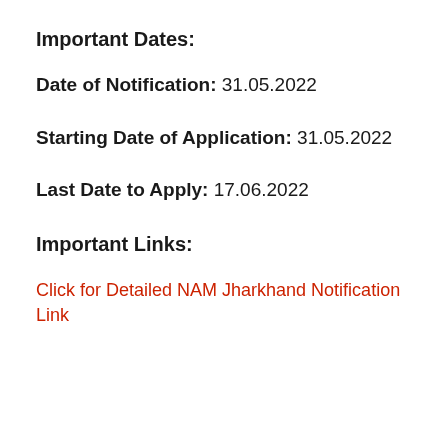Important Dates:
Date of Notification: 31.05.2022
Starting Date of Application: 31.05.2022
Last Date to Apply: 17.06.2022
Important Links:
Click for Detailed NAM Jharkhand Notification Link